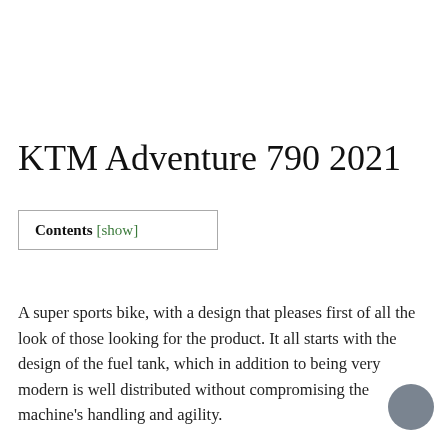KTM Adventure 790 2021
Contents [show]
A super sports bike, with a design that pleases first of all the look of those looking for the product. It all starts with the design of the fuel tank, which in addition to being very modern is well distributed without compromising the machine's handling and agility.